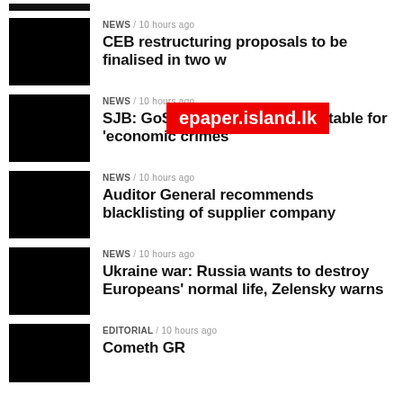[Figure (photo): Black thumbnail image at top]
NEWS / 10 hours ago
CEB restructuring proposals to be finalised in two weeks
NEWS / 10 hours ago
SJB: GoSL may be held accountable for 'economic crimes'
NEWS / 10 hours ago
Auditor General recommends blacklisting of supplier company
NEWS / 10 hours ago
Ukraine war: Russia wants to destroy Europeans' normal life, Zelensky warns
EDITORIAL / 10 hours ago
Cometh GR